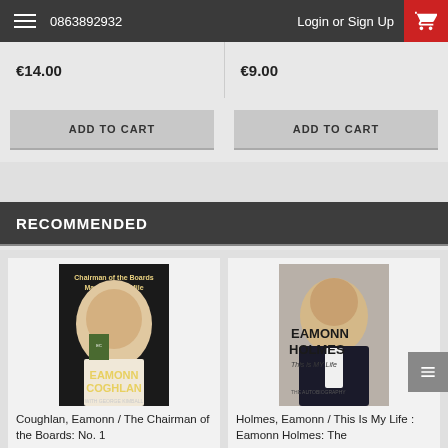0863892932  Login or  Sign Up
€14.00
€9.00
ADD TO CART
ADD TO CART
RECOMMENDED
[Figure (photo): Book cover: Eamonn Coghlan - Chairman of the Boards, Master of the Mile]
Coughlan, Eamonn / The Chairman of the Boards: No. 1
€3.50
[Figure (photo): Book cover: Eamonn Holmes - This is MY Life: The Autobiography]
Holmes, Eamonn / This Is My Life : Eamonn Holmes: The
€3.50